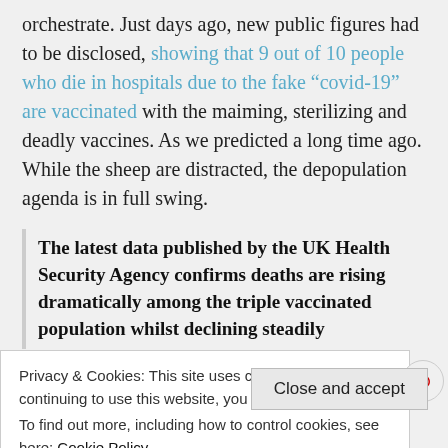orchestrate. Just days ago, new public figures had to be disclosed, showing that 9 out of 10 people who die in hospitals due to the fake “covid-19” are vaccinated with the maiming, sterilizing and deadly vaccines. As we predicted a long time ago. While the sheep are distracted, the depopulation agenda is in full swing.
The latest data published by the UK Health Security Agency confirms deaths are rising dramatically among the triple vaccinated population whilst declining steadily
Privacy & Cookies: This site uses cookies. By continuing to use this website, you agree to their use.
To find out more, including how to control cookies, see here: Cookie Policy